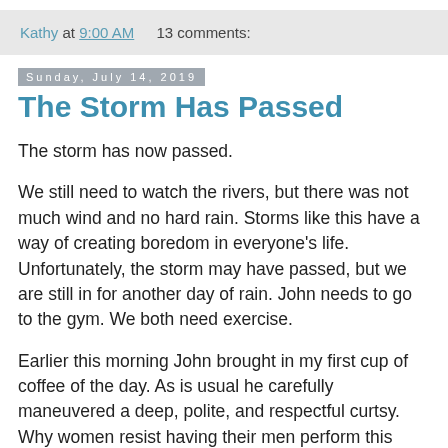Kathy at 9:00 AM   13 comments:
Sunday, July 14, 2019
The Storm Has Passed
The storm has now passed.
We still need to watch the rivers, but there was not much wind and no hard rain. Storms like this have a way of creating boredom in everyone's life. Unfortunately, the storm may have passed, but we are still in for another day of rain. John needs to go to the gym. We both need exercise.
Earlier this morning John brought in my first cup of coffee of the day. As is usual he carefully maneuvered a deep, polite, and respectful curtsy. Why women resist having their men perform this exercise is beyond me. It is a simple act that shows respect for authority. This morning I brought John to